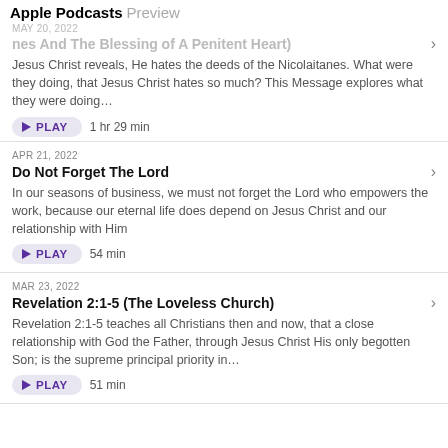Apple Podcasts Preview
MAY 20, 2022
(Nic…nes And The Blessing of A Penitent Heart)
Jesus Christ reveals, He hates the deeds of the Nicolaitanes. What were they doing, that Jesus Christ hates so much? This Message explores what they were doing…
PLAY  1 hr 29 min
APR 21, 2022
Do Not Forget The Lord
In our seasons of business, we must not forget the Lord who empowers the work, because our eternal life does depend on Jesus Christ and our relationship with Him
PLAY  54 min
MAR 23, 2022
Revelation 2:1-5 (The Loveless Church)
Revelation 2:1-5 teaches all Christians then and now, that a close relationship with God the Father, through Jesus Christ His only begotten Son; is the supreme principal priority in…
PLAY  51 min